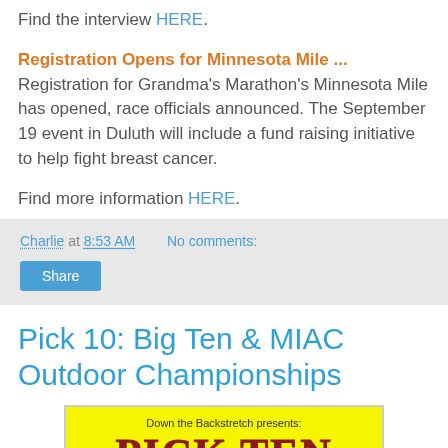Find the interview HERE.
Registration Opens for Minnesota Mile ... Registration for Grandma's Marathon's Minnesota Mile has opened, race officials announced. The September 19 event in Duluth will include a fund raising initiative to help fight breast cancer.
Find more information HERE.
Charlie at 8:53 AM   No comments:
Share
Pick 10: Big Ten & MIAC Outdoor Championships
[Figure (illustration): Yellow banner reading 'Down the Backstretch presents: PICK TEN' in dark red bold serif font on yellow background]